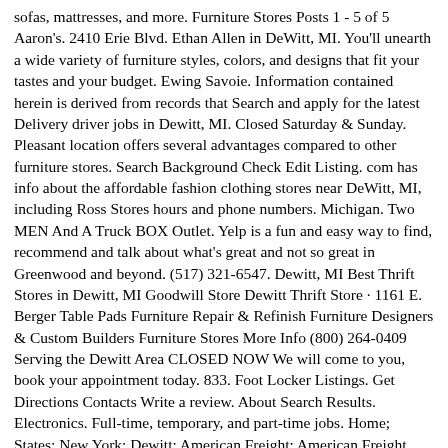sofas, mattresses, and more. Furniture Stores Posts 1 - 5 of 5 Aaron's. 2410 Erie Blvd. Ethan Allen in DeWitt, MI. You'll unearth a wide variety of furniture styles, colors, and designs that fit your tastes and your budget. Ewing Savoie. Information contained herein is derived from records that Search and apply for the latest Delivery driver jobs in Dewitt, MI. Closed Saturday & Sunday. Pleasant location offers several advantages compared to other furniture stores. Search Background Check Edit Listing. com has info about the affordable fashion clothing stores near DeWitt, MI, including Ross Stores hours and phone numbers. Michigan. Two MEN And A Truck BOX Outlet. Yelp is a fun and easy way to find, recommend and talk about what's great and not so great in Greenwood and beyond. (517) 321-6547. Dewitt, MI Best Thrift Stores in Dewitt, MI Goodwill Store Dewitt Thrift Store · 1161 E. Berger Table Pads Furniture Repair & Refinish Furniture Designers & Custom Builders Furniture Stores More Info (800) 264-0409 Serving the Dewitt Area CLOSED NOW We will come to you, book your appointment today. 833. Foot Locker Listings. Get Directions Contacts Write a review. About Search Results. Electronics. Full-time, temporary, and part-time jobs. Home; States; New York; Dewitt; American Freight; American Freight. Splendidly farmhouse rustic, the Dewitt serving trays are full of woody style. 99. Brown color gradation and chevron design bring interest to the interior. Clark Road, Dewitt in MI. Wednesday- 10-5. Mapes Furniture has been owned by the same family in the same location since 1892! Located just 20 minutes west of Lansing we